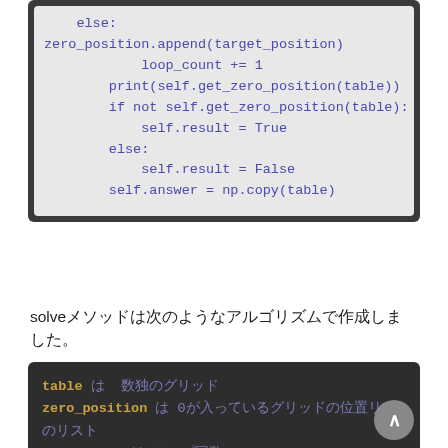[Figure (screenshot): Code block with light gray background showing Python code: else clause with zero_position.append, loop_count += 1, print statement, if not condition, self.result = True, else: self.result = False, self.answer = np.copy(table)]
solveメソッドは次のようなアルゴリズムで作成しました。
[Figure (screenshot): Dark background code block showing variable descriptions: table は 数独のグリッド, zero_position は 0が入っているグリッドの位置リスト, loop_count は ループ回数]